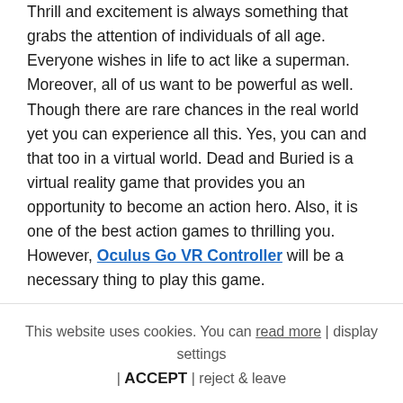Thrill and excitement is always something that grabs the attention of individuals of all age. Everyone wishes in life to act like a superman. Moreover, all of us want to be powerful as well. Though there are rare chances in the real world yet you can experience all this. Yes, you can and that too in a virtual world. Dead and Buried is a virtual reality game that provides you an opportunity to become an action hero. Also, it is one of the best action games to thrilling you. However, Oculus Go VR Controller will be a necessary thing to play this game.
This website uses cookies. You can read more | display settings | ACCEPT | reject & leave